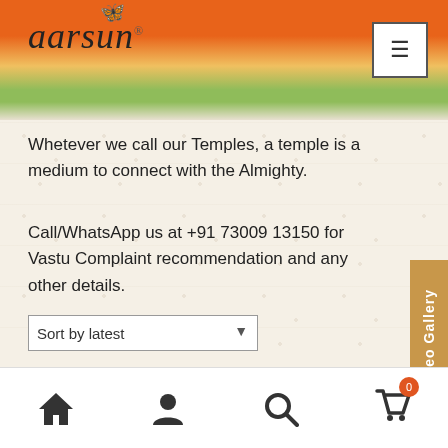aarsun
Whetever we call our Temples, a temple is a medium to connect with the Almighty.
Call/WhatsApp us at +91 73009 13150 for Vastu Complaint recommendation and any other details.
Sort by latest
ng 1–80 of 155 results
Home | Account | Search | Cart (0)